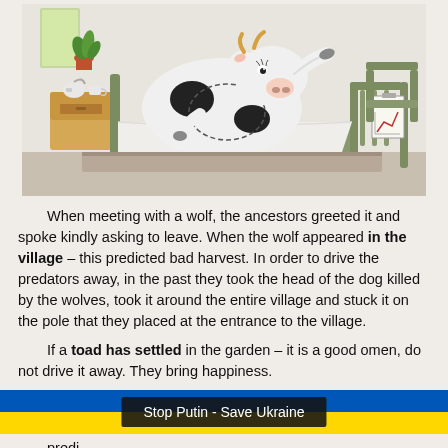[Figure (illustration): A cartoon illustration of a cow lying in a hospital bed, wearing a patient gown with stitches on its belly, reclining with one arm raised. A bedside table with a teapot and cups is on the left, a green metal bed frame is visible, and a chart hangs on the right side of the bed.]
When meeting with a wolf, the ancestors greeted it and spoke kindly asking to leave. When the wolf appeared in the village – this predicted bad harvest. In order to drive the predators away, in the past they took the head of the dog killed by the wolves, took it around the entire village and stuck it on the pole that they placed at the entrance to the village.
If a toad has settled in the garden – it is a good omen, do not drive it away. They bring happiness.
[Figure (infographic): Ukrainian flag banner (blue top half, yellow bottom half) with a black overlay text box reading 'Stop Putin - Save Ukraine']
predi...